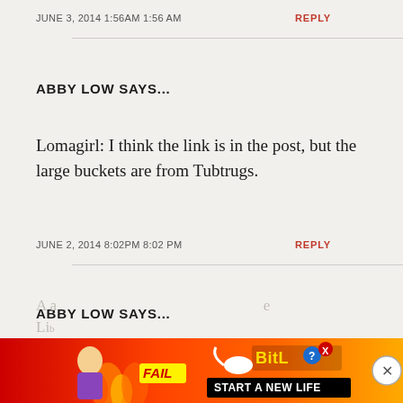JUNE 3, 2014 1:56AM 1:56 AM
REPLY
ABBY LOW SAYS...
Lomagirl: I think the link is in the post, but the large buckets are from Tubtrugs.
JUNE 2, 2014 8:02PM 8:02 PM
REPLY
ABBY LOW SAYS...
[Figure (other): Advertisement banner: BitLife - Start a New Life, with FAIL label and cartoon character on red/fire background, with close (X) button]